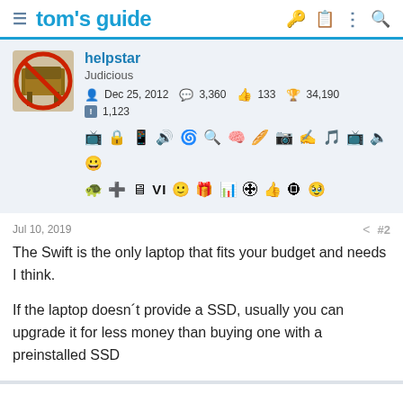tom's guide
helpstar
Judicious
Dec 25, 2012   3,360   133   34,190
1,123
Jul 10, 2019   #2
The Swift is the only laptop that fits your budget and needs I think.

If the laptop doesn´t provide a SSD, usually you can upgrade it for less money than buying one with a preinstalled SSD